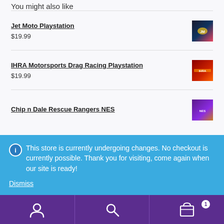You might also like
Jet Moto Playstation $19.99
IHRA Motorsports Drag Racing Playstation $19.99
Chip n Dale Rescue Rangers NES
This store is currently undergoing changes. No checkout is currently possible. Thank you for visiting, come again when our site is ready!
Dismiss
User | Search | Cart (1)